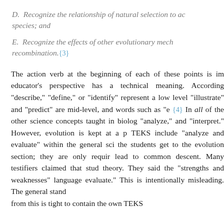D. Recognize the relationship of natural selection to ac species; and
E. Recognize the effects of other evolutionary mech recombination.{3}
The action verb at the beginning of each of these points is im educator's perspective has a technical meaning. According "describe," "define," or "identify" represent a low level "illustrate" and "predict" are mid-level, and words such as "e {4} In all of the other science concepts taught in biolog "analyze," and "interpret." However, evolution is kept at a p TEKS include "analyze and evaluate" within the general sci the students get to the evolution section; they are only requir lead to common descent. Many testifiers claimed that stud theory. They said the "strengths and weaknesses" language evaluate." This is intentionally misleading. The general stand from this is tight to contain the own TEKS